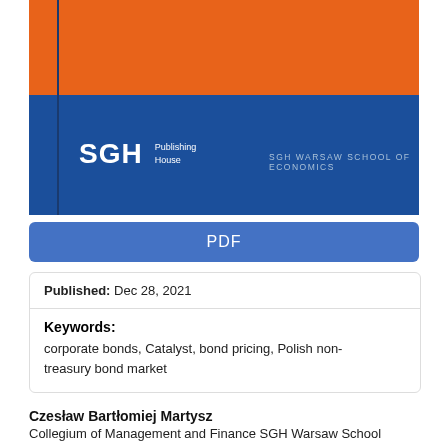[Figure (illustration): SGH Publishing House book cover with orange top block and blue bottom block, SGH logo and 'SGH WARSAW SCHOOL OF ECONOMICS' text on blue area]
PDF
Published: Dec 28, 2021
Keywords:
corporate bonds, Catalyst, bond pricing, Polish non-treasury bond market
Czesław Bartłomiej Martysz
Collegium of Management and Finance SGH Warsaw School